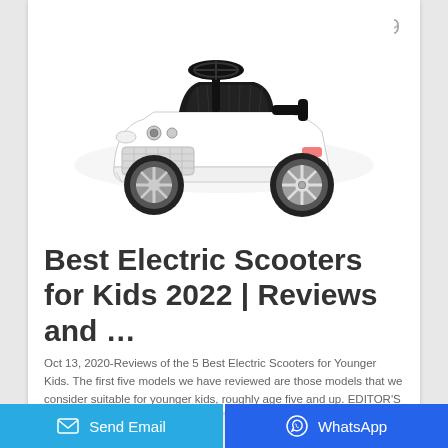9
[Figure (photo): White toy ride-on car modeled after a Bentley, with black steering wheel, black seat, chrome wheels, and Bentley badging. Shot on white background.]
Best Electric Scooters for Kids 2022 | Reviews and …
Oct 13, 2020-Reviews of the 5 Best Electric Scooters for Younger Kids. The first five models we have reviewed are those models that we consider suitable for younger kids, roughly age five and up. EDITOR'S CHOICE. #1. Razor E100 …
Send Email  WhatsApp